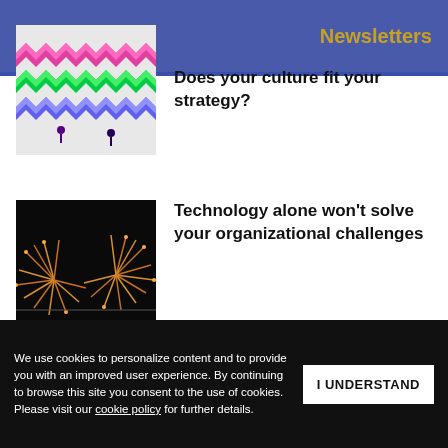s+b  Newsletters
[Figure (illustration): Colorful zigzag pattern thumbnail with pink, green, and blue layers and small robotic figures]
Does your culture fit your strategy?
[Figure (photo): Dark background with golden firework-like burst patterns on a wire]
Technology alone won't solve your organizational challenges
A pose by any other name
Get s+b's award-winning newsletter delivered to your inbox.
We use cookies to personalize content and to provide you with an improved user experience. By continuing to browse this site you consent to the use of cookies. Please visit our cookie policy for further details.